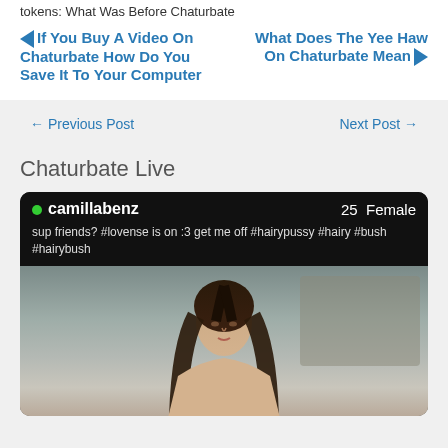tokens: What Was Before Chaturbate
◀If You Buy A Video On Chaturbate How Do You Save It To Your Computer
What Does The Yee Haw On Chaturbate Mean▶
← Previous Post
Next Post →
Chaturbate Live
[Figure (screenshot): Chaturbate live cam card showing user 'camillabenz', 25 Female, with description 'sup friends? #lovense is on :3 get me off #hairypussy #hairy #bush #hairybush', and a video thumbnail of a young woman with long dark hair.]